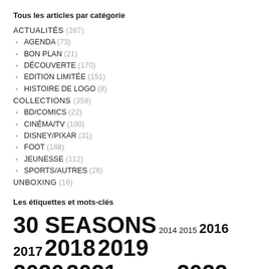Tous les articles par catégorie
ACTUALITÉS (287)
AGENDA (73)
BON PLAN (21)
DÉCOUVERTE (170)
EDITION LIMITÉE (151)
HISTOIRE DE LOGO (8)
COLLECTIONS (358)
BD/COMICS (22)
CINÉMA/TV (100)
DISNEY/PIXAR (31)
FOOT (188)
JEUNESSE (112)
SPORTS/AUTRES (26)
UNBOXING (16)
Les étiquettes et mots-clés
30 SEASONS 2014 2015 2016 2017 2018 2019 2020 2021 2021 KICK OFF 2022 AARON RAMSEY